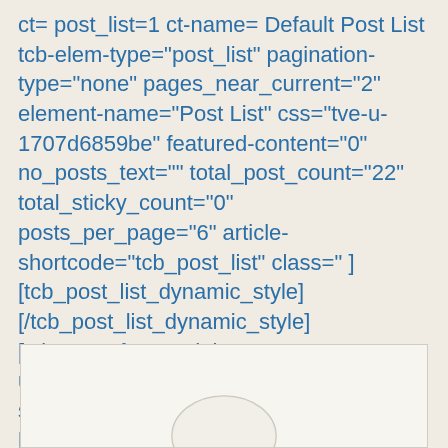ct= post_list=1 ct-name= Default Post List tcb-elem-type="post_list" pagination-type="none" pages_near_current="2" element-name="Post List" css="tve-u-1707d6859be" featured-content="0" no_posts_text="" total_post_count="22" total_sticky_count="0" posts_per_page="6" article-shortcode="tcb_post_list" class=" ] [tcb_post_list_dynamic_style] [/tcb_post_list_dynamic_style] [tcb_post_featured_image type-url='post_url' type-display='default_image' size='full' post_id='2021'] [/tcb_post_list]
[Figure (other): A light-colored box with a faint circular icon in the center bottom area, suggesting a placeholder image or media element]